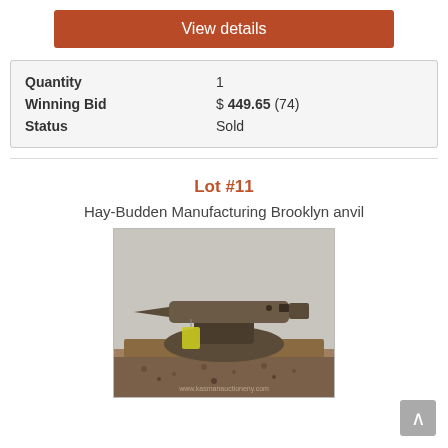View details
| Quantity | 1 |
| Winning Bid | $ 449.65 (74) |
| Status | Sold |
Lot #11
Hay-Budden Manufacturing Brooklyn anvil
[Figure (photo): Photo of a Hay-Budden Manufacturing Brooklyn anvil sitting on a wooden platform on gravel ground, with a yellow auction tag attached. Watermark reads www.kasmanauctioneny.com]
∧